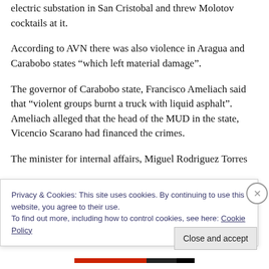electric substation in San Cristobal and threw Molotov cocktails at it.
According to AVN there was also violence in Aragua and Carabobo states “which left material damage”.
The governor of Carabobo state, Francisco Ameliach said that “violent groups burnt a truck with liquid asphalt”. Ameliach alleged that the head of the MUD in the state, Vicencio Scarano had financed the crimes.
The minister for internal affairs, Miguel Rodriguez Torres
Privacy & Cookies: This site uses cookies. By continuing to use this website, you agree to their use.
To find out more, including how to control cookies, see here: Cookie Policy
Close and accept